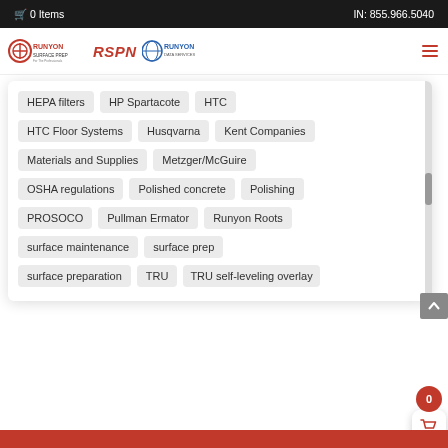0 Items  IN: 855.966.5040
[Figure (logo): Runyon Surface Prep / RSPN / Runyon Data Services combined logo]
HEPA filters
HP Spartacote
HTC
HTC Floor Systems
Husqvarna
Kent Companies
Materials and Supplies
Metzger/McGuire
OSHA regulations
Polished concrete
Polishing
PROSOCO
Pullman Ermator
Runyon Roots
surface maintenance
surface prep
surface preparation
TRU
TRU self-leveling overlay